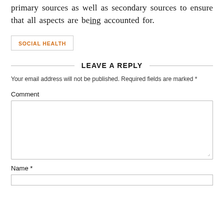primary sources as well as secondary sources to ensure that all aspects are being accounted for.
SOCIAL HEALTH
LEAVE A REPLY
Your email address will not be published. Required fields are marked *
Comment
Name *